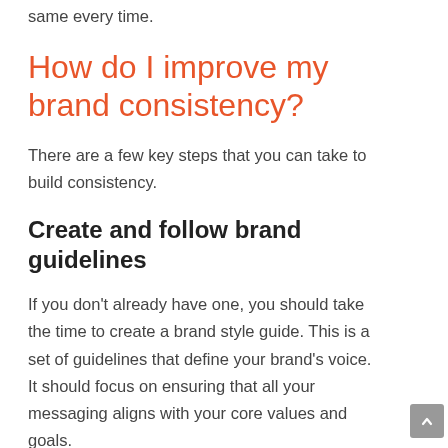same every time.
How do I improve my brand consistency?
There are a few key steps that you can take to build consistency.
Create and follow brand guidelines
If you don't already have one, you should take the time to create a brand style guide. This is a set of guidelines that define your brand's voice. It should focus on ensuring that all your messaging aligns with your core values and goals.
Without these guidelines, your messaging can feel confusing and uncertain. This gives your brand its